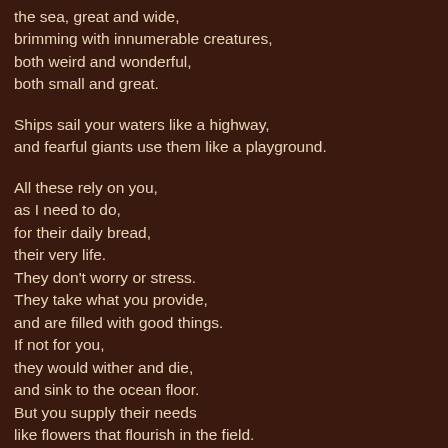the sea, great and wide,
brimming with innumerable creatures,
both weird and wonderful,
both small and great.

Ships sail your waters like a highway,
and fearful giants use them like a playground.

All these rely on you,
as I need to do,
for their daily bread,
their very life.
They don't worry or stress.
They take what you provide,
and are filled with good things.
If not for you,
they would wither and die,
and sink to the ocean floor.
But you supply their needs
like flowers that flourish in the field.

Make me like them, Lord.